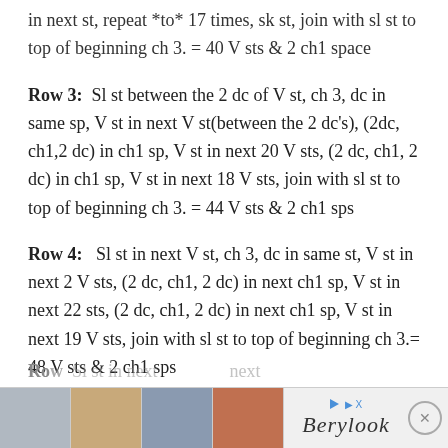in next st, repeat *to* 17 times, sk st, join with sl st to top of beginning ch 3. = 40 V sts & 2 ch1 space
Row 3: Sl st between the 2 dc of V st, ch 3, dc in same sp, V st in next V st(between the 2 dc's), (2dc, ch1,2 dc) in ch1 sp, V st in next 20 V sts, (2 dc, ch1, 2 dc) in ch1 sp, V st in next 18 V sts, join with sl st to top of beginning ch 3. = 44 V sts & 2 ch1 sps
Row 4: Sl st in next V st, ch 3, dc in same st, V st in next 2 V sts, (2 dc, ch1, 2 dc) in next ch1 sp, V st in next 22 sts, (2 dc, ch1, 2 dc) in next ch1 sp, V st in next 19 V sts, join with sl st to top of beginning ch 3.= 48 V sts & 2 ch1 sps
Row 5: [partially visible] Sl st in next ... next ...ext